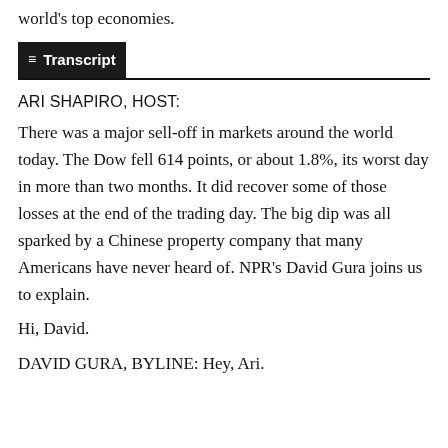world's top economies.
Transcript
ARI SHAPIRO, HOST:
There was a major sell-off in markets around the world today. The Dow fell 614 points, or about 1.8%, its worst day in more than two months. It did recover some of those losses at the end of the trading day. The big dip was all sparked by a Chinese property company that many Americans have never heard of. NPR's David Gura joins us to explain.
Hi, David.
DAVID GURA, BYLINE: Hey, Ari.